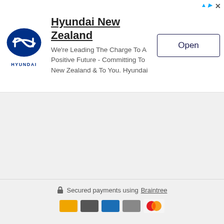[Figure (screenshot): Hyundai New Zealand advertisement banner with Hyundai logo, title, description text, and Open button]
Hyundai New Zealand
We're Leading The Charge To A Positive Future - Committing To New Zealand & To You. Hyundai
Secured payments using Braintree
[Figure (logo): Payment method icons including Mastercard]